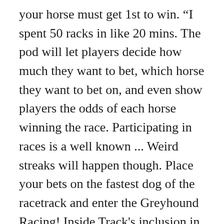your horse must get 1st to win. “I spent 50 racks in like 20 mins. The pod will let players decide how much they want to bet, which horse they want to bet on, and even show players the odds of each horse winning the race. Participating in races is a well known ... Weird streaks will happen though. Place your bets on the fastest dog of the racetrack and enter the Greyhound Racing! Inside Track's inclusion in GTA San Andreas is part of the game's gambling mechanism, serving as one of the first gambling establishments that the player has access to prior to unlocking the Las Venturas segment of San Andreas; in fact, GTA San Andreas' only two Inside Track outlets are